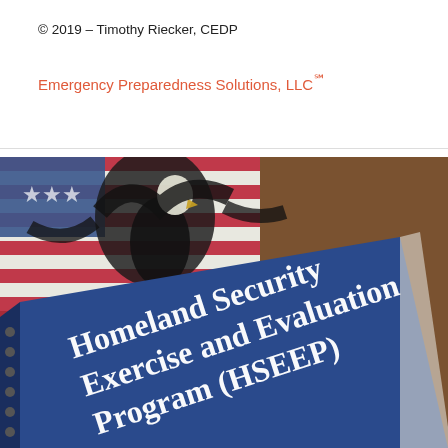© 2019 – Timothy Riecker, CEDP
Emergency Preparedness Solutions, LLC℠
[Figure (photo): Photo of a spiral-bound Homeland Security Exercise and Evaluation Program (HSEEP) manual with blue cover showing the title text in white, placed against a background featuring an American flag and an eagle.]